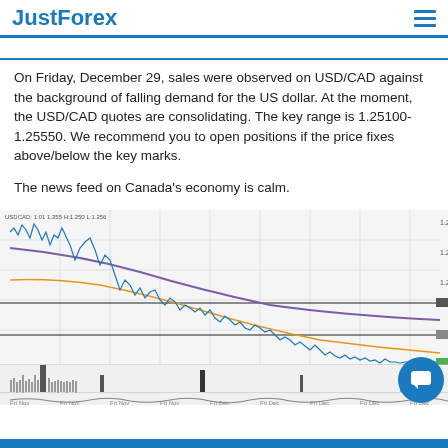JustForex
On Friday, December 29, sales were observed on USD/CAD against the background of falling demand for the US dollar. At the moment, the USD/CAD quotes are consolidating. The key range is 1.25100-1.25550. We recommend you to open positions if the price fixes above/below the key marks.
The news feed on Canada's economy is calm.
[Figure (continuous-plot): USD/CAD forex chart showing a downtrend with price declining from upper left to lower right, with two moving average lines (orange and purple), a volume bar section in the middle, and an oscillator indicator at the bottom. Time axis along the bottom, price axis on the right.]